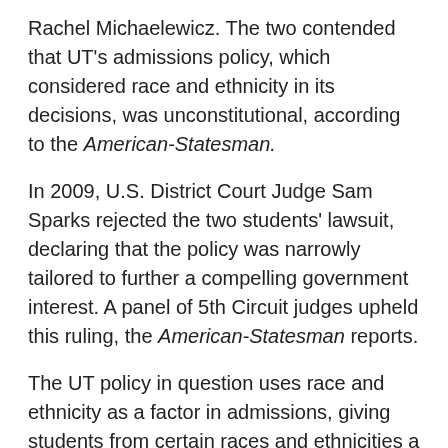Rachel Michaelewicz. The two contended that UT's admissions policy, which considered race and ethnicity in its decisions, was unconstitutional, according to the American-Statesman.
In 2009, U.S. District Court Judge Sam Sparks rejected the two students' lawsuit, declaring that the policy was narrowly tailored to further a compelling government interest. A panel of 5th Circuit judges upheld this ruling, the American-Statesman reports.
The UT policy in question uses race and ethnicity as a factor in admissions, giving students from certain races and ethnicities a "plus factor," reports The Wall Street Journal.
Five of the dissenting judges in the 5th Circuit issued a dissent saying that the original 5th Circuit panel had incorrectly given the UT administrators deference, when they should have applied a strict scrutiny standard in analyzing